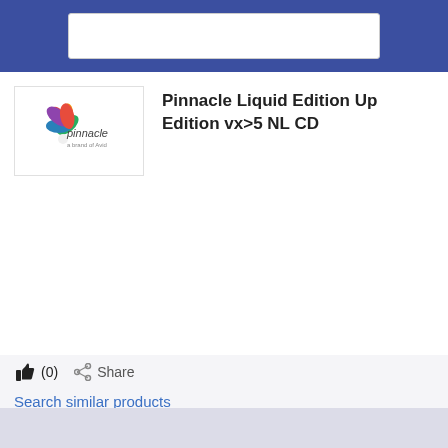[Figure (logo): Pinnacle logo with colorful star/pinwheel and text 'pinnacle']
Pinnacle Liquid Edition Up Edition vx>5 NL CD
(0)
Share
Search similar products
Add to compare